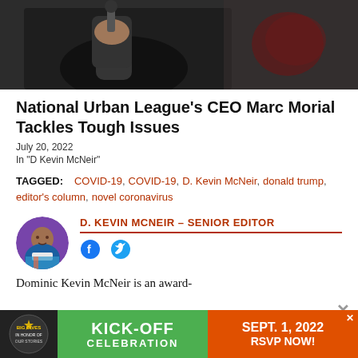[Figure (photo): Person in black shirt holding a microphone, blurred background with red object]
National Urban League's CEO Marc Morial Tackles Tough Issues
July 20, 2022
In "D Kevin McNeir"
TAGGED: COVID-19, COVID-19, D. Kevin McNeir, donald trump, editor's column, novel coronavirus
D. KEVIN MCNEIR – SENIOR EDITOR
[Figure (photo): Circular avatar photo of D. Kevin McNeir, a man in a colorful shirt]
Dominic Kevin McNeir is an award-
[Figure (infographic): Advertisement banner: Kick-Off Celebration, Sept. 1, 2022, RSVP Now!]